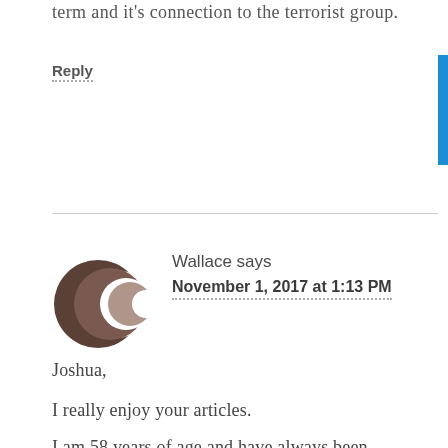term and it's connection to the terrorist group.
Reply
Wallace says
November 1, 2017 at 1:13 PM
Joshua,
I really enjoy your articles.
I am 58 years of age and have always been organized since childhood but did not know much about the concept of minimalism until a few years ago. We had a 2300 square foot home